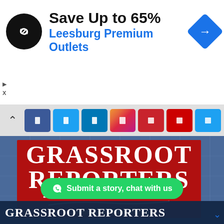[Figure (screenshot): Advertisement banner for Leesburg Premium Outlets with logo, 'Save Up to 65%' headline, blue subtitle, and navigation diamond icon]
[Figure (screenshot): Browser toolbar with share/social media buttons in various colors including Facebook blue, Twitter blue, LinkedIn blue, Instagram gradient, YouTube red, and others]
[Figure (logo): Grassroot Reporters logo on red background with white serif bold text 'GRASSROOT REPORTERS', underline swoosh, and yellow italic text '...bridging the information gap']
Submit a story, chat with us
GRASSROOT REPORTERS